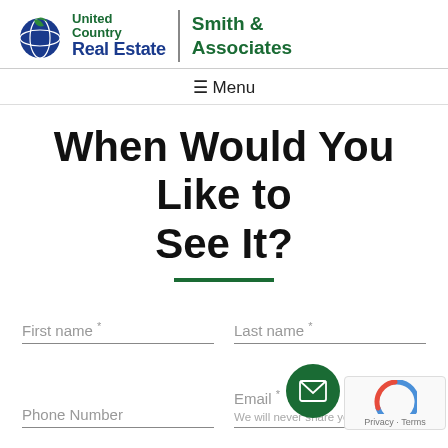[Figure (logo): United Country Real Estate | Smith & Associates logo with green globe icon]
≡ Menu
When Would You Like to See It?
First name *
Last name *
Phone Number
Email *
We will never s[hare your email]